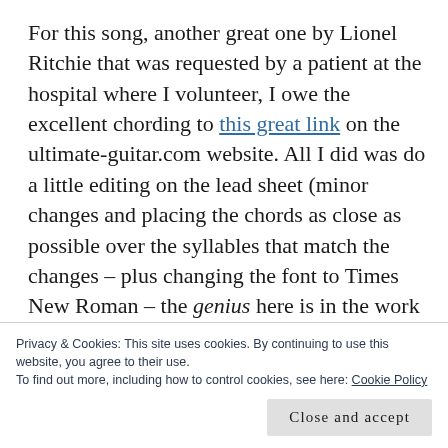For this song, another great one by Lionel Ritchie that was requested by a patient at the hospital where I volunteer, I owe the excellent chording to this great link on the ultimate-guitar.com website. All I did was do a little editing on the lead sheet (minor changes and placing the chords as close as possible over the syllables that match the changes – plus changing the font to Times New Roman – the genius here is in the work shown on ultimate-guitar.com. It saved me a lot
Privacy & Cookies: This site uses cookies. By continuing to use this website, you agree to their use.
To find out more, including how to control cookies, see here: Cookie Policy
Close and accept